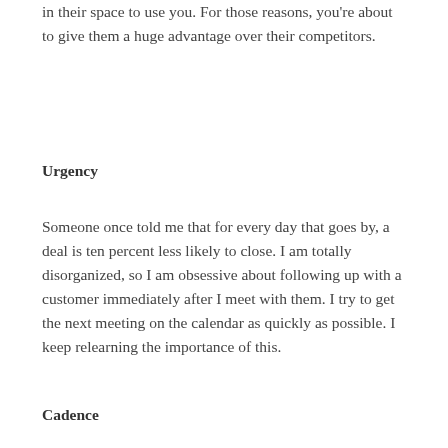in their space to use you.  For those reasons, you're about to give them a huge advantage over their competitors.
Urgency
Someone once told me that for every day that goes by, a deal is ten percent less likely to close.  I am totally disorganized, so I am obsessive about following up with a customer immediately after I meet with them.  I try to get the next meeting on the calendar as quickly as possible.  I keep relearning the importance of this.
Cadence